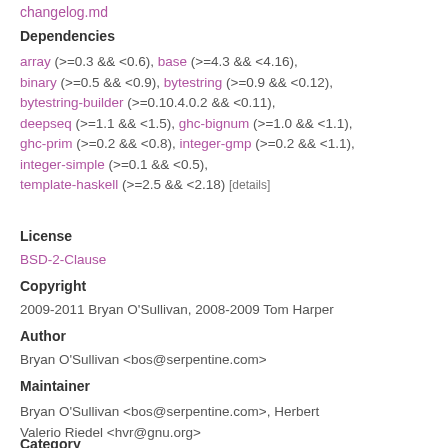changelog.md
Dependencies
array (>=0.3 && <0.6), base (>=4.3 && <4.16), binary (>=0.5 && <0.9), bytestring (>=0.9 && <0.12), bytestring-builder (>=0.10.4.0.2 && <0.11), deepseq (>=1.1 && <1.5), ghc-bignum (>=1.0 && <1.1), ghc-prim (>=0.2 && <0.8), integer-gmp (>=0.2 && <1.1), integer-simple (>=0.1 && <0.5), template-haskell (>=2.5 && <2.18) [details]
License
BSD-2-Clause
Copyright
2009-2011 Bryan O'Sullivan, 2008-2009 Tom Harper
Author
Bryan O'Sullivan <bos@serpentine.com>
Maintainer
Bryan O'Sullivan <bos@serpentine.com>, Herbert Valerio Riedel <hvr@gnu.org>
Category